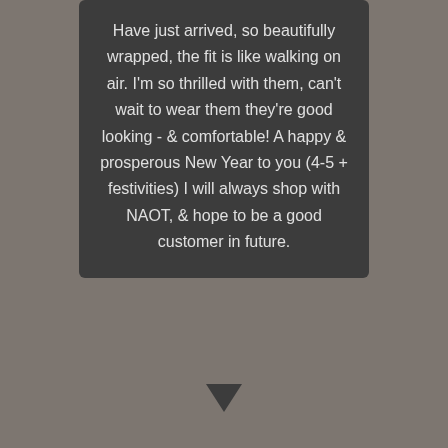Have just arrived, so beautifully wrapped, the fit is like walking on air. I'm so thrilled with them, can't wait to wear them they're good looking - & comfortable! A happy & prosperous New Year to you (4-5 + festivities) I will always shop with NAOT, & hope to be a good customer in future.